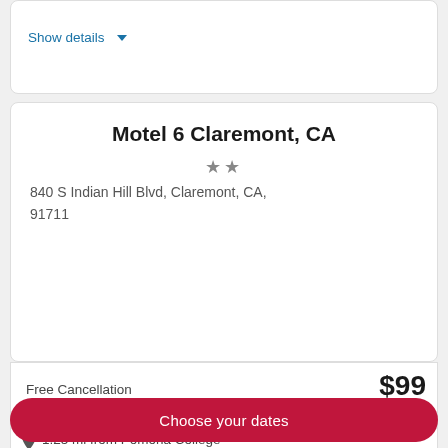Show details
Motel 6 Claremont, CA
★★
840 S Indian Hill Blvd, Claremont, CA, 91711
Free Cancellation
Reserve now, pay when you stay
$99 per night
Sep 5 - Sep 6
1.25 mi from Pomona College
Show details
Choose your dates